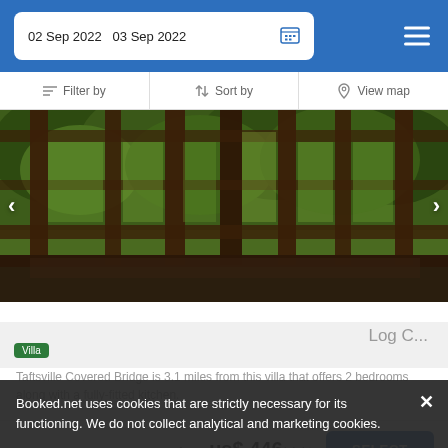02 Sep 2022  03 Sep 2022
Filter by  Sort by  View map
[Figure (photo): Interior photo showing wooden window frames with view of green forest/trees outside]
13.6 mi from Windsor
13.6 mi from City Center
Taftsville Covered Bridge is 3.1 miles from this villa that offers 2 bedrooms along with a fully-fitted kitchen.
from us$ 446/night
SELECT
Booked.net uses cookies that are strictly necessary for its functioning. We do not collect analytical and marketing cookies.